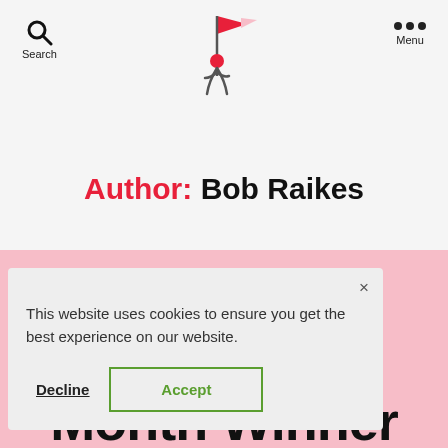Search | [logo] | Menu
Author: Bob Raikes
This website uses cookies to ensure you get the best experience on our website.
Decline   Accept
Month Winner